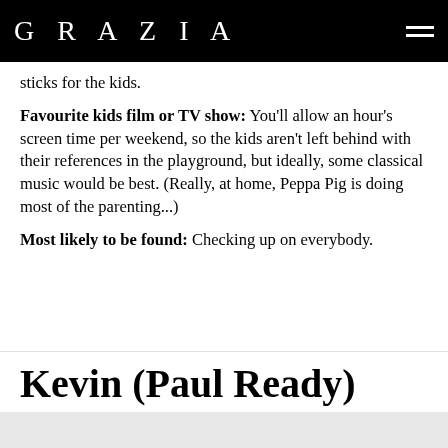GRAZIA
sticks for the kids.
Favourite kids film or TV show: You'll allow an hour's screen time per weekend, so the kids aren't left behind with their references in the playground, but ideally, some classical music would be best. (Really, at home, Peppa Pig is doing most of the parenting...)
Most likely to be found: Checking up on everybody.
Kevin (Paul Ready)